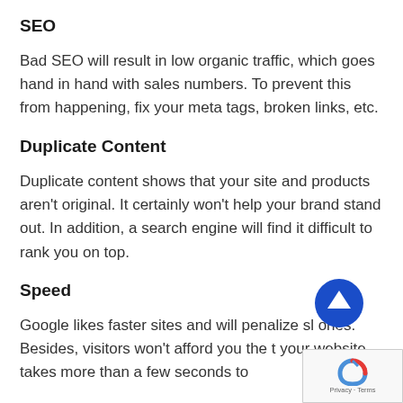SEO
Bad SEO will result in low organic traffic, which goes hand in hand with sales numbers. To prevent this from happening, fix your meta tags, broken links, etc.
Duplicate Content
Duplicate content shows that your site and products aren't original. It certainly won't help your brand stand out. In addition, a search engine will find it difficult to rank you on top.
Speed
Google likes faster sites and will penalize sl ones. Besides, visitors won't afford you the t your website takes more than a few seconds to